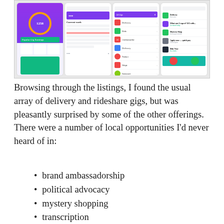[Figure (screenshot): Four smartphone app screens showing a gig work / side hustle platform interface with various listings including delivery, rideshare, brand ambassadorship, and other gig opportunities.]
Browsing through the listings, I found the usual array of delivery and rideshare gigs, but was pleasantly surprised by some of the other offerings. There were a number of local opportunities I'd never heard of in:
brand ambassadorship
political advocacy
mystery shopping
transcription
and more